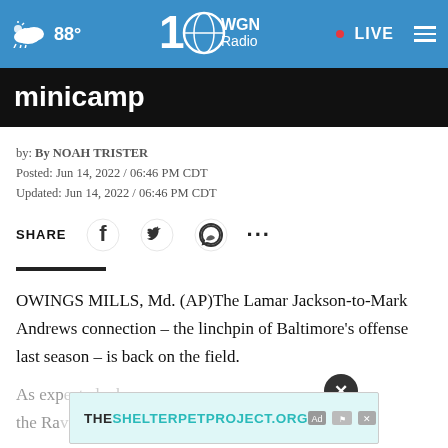88° WGN Radio 100 • LIVE
minicamp
by: By NOAH TRISTER
Posted: Jun 14, 2022 / 06:46 PM CDT
Updated: Jun 14, 2022 / 06:46 PM CDT
SHARE
OWINGS MILLS, Md. (AP)The Lamar Jackson-to-Mark Andrews connection – the linchpin of Baltimore's offense last season – is back on the field.
As exp... hen the Ra... en
[Figure (screenshot): Ad overlay showing THESHELTERPETPROJECT.ORG with a close (X) button and ad network icons]